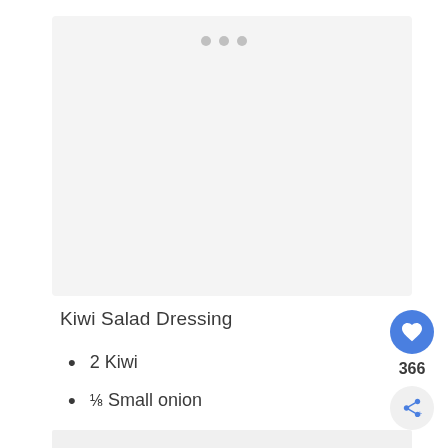[Figure (photo): Blank/placeholder image area for Kiwi Salad Dressing photo]
Kiwi Salad Dressing
2 Kiwi
⅛ Small onion
¼ Lemon juice
1 tbsp Honey
⅛ cup Olive oil
⅛ tsp Black pepper